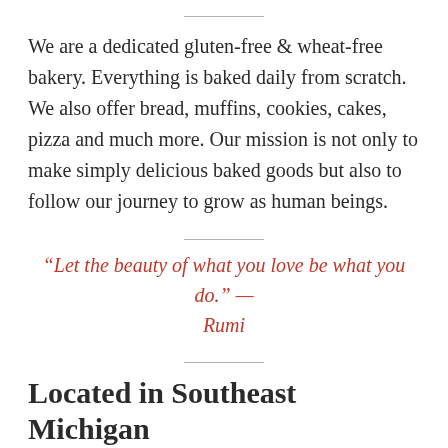We are a dedicated gluten-free & wheat-free bakery. Everything is baked daily from scratch. We also offer bread, muffins, cookies, cakes, pizza and much more. Our mission is not only to make simply delicious baked goods but also to follow our journey to grow as human beings.
“Let the beauty of what you love be what you do.” — Rumi
Located in Southeast Michigan